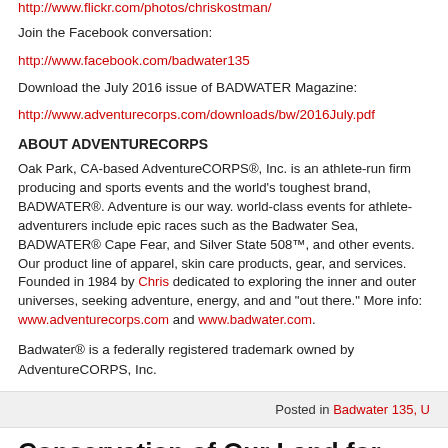http://www.flickr.com/photos/chriskostman/
Join the Facebook conversation:
http://www.facebook.com/badwater135
Download the July 2016 issue of BADWATER Magazine:
http://www.adventurecorps.com/downloads/bw/2016July.pdf
ABOUT ADVENTURECORPS
Oak Park, CA-based AdventureCORPS®, Inc. is an athlete-run firm producing and sports events and the world's toughest brand, BADWATER®. Adventure is our wa world-class events for athlete-adventurers include epic races such as the Badwat Sea, BADWATER® Cape Fear, and Silver State 508™, and other events. Our pro line of apparel, skin care products, gear, and services. Founded in 1984 by Chris dedicated to exploring the inner and outer universes, seeking adventure, energy, a and "out there." More info: www.adventurecorps.com and www.badwater.com.
Badwater® is a federally registered trademark owned by AdventureCORPS, Inc.
Posted in Badwater 135, U
Conservation of Our Land for Trail Runne